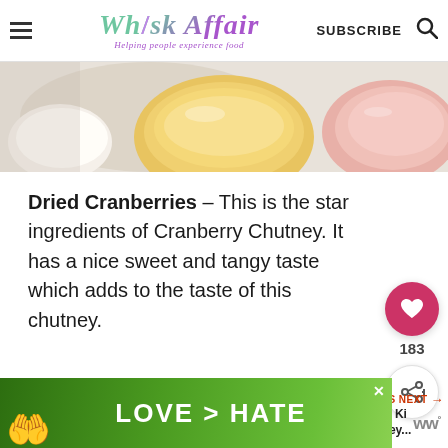Whisk Affair – Helping people experience food | SUBSCRIBE
[Figure (photo): Top-down view of bowls/cups with liquids – yellow/golden and pink colored drinks or sauces on a white surface]
Dried Cranberries – This is the star ingredients of Cranberry Chutney. It has a nice sweet and tangy taste which adds to the taste of this chutney.
[Figure (infographic): Social engagement sidebar: heart/like button with count 183, and share button]
[Figure (infographic): What's Next widget with thumbnail image and text: Bhang Ki Chutney...]
[Figure (photo): Advertisement banner showing hands making a heart shape with text LOVE > HATE on green background]